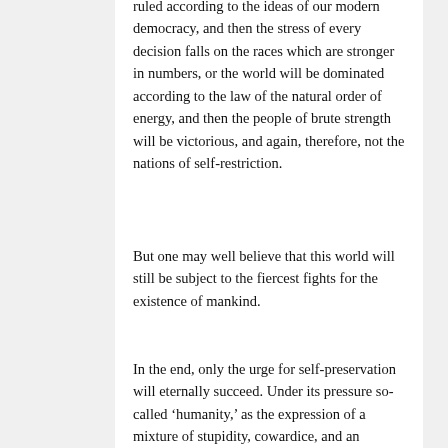ruled according to the ideas of our modern democracy, and then the stress of every decision falls on the races which are stronger in numbers, or the world will be dominated according to the law of the natural order of energy, and then the people of brute strength will be victorious, and again, therefore, not the nations of self-restriction.
But one may well believe that this world will still be subject to the fiercest fights for the existence of mankind.
In the end, only the urge for self-preservation will eternally succeed. Under its pressure so-called ‘humanity,’ as the expression of a mixture of stupidity, cowardice, and an imaginary superior intelligence, will melt like snow under the March sun. Mankind has grown strong in eternal struggles and it will only perish through eternal peace.